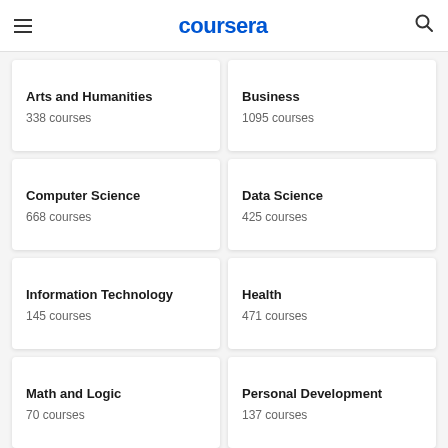coursera
Arts and Humanities
338 courses
Business
1095 courses
Computer Science
668 courses
Data Science
425 courses
Information Technology
145 courses
Health
471 courses
Math and Logic
70 courses
Personal Development
137 courses